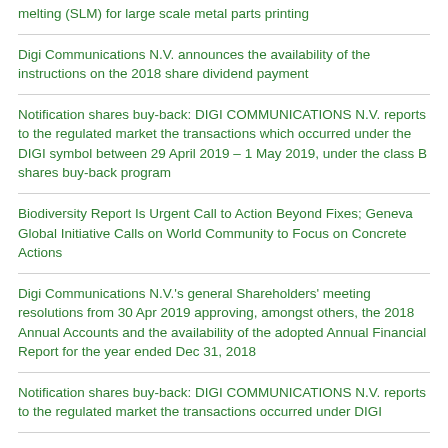melting (SLM) for large scale metal parts printing
Digi Communications N.V. announces the availability of the instructions on the 2018 share dividend payment
Notification shares buy-back: DIGI COMMUNICATIONS N.V. reports to the regulated market the transactions which occurred under the DIGI symbol between 29 April 2019 – 1 May 2019, under the class B shares buy-back program
Biodiversity Report Is Urgent Call to Action Beyond Fixes; Geneva Global Initiative Calls on World Community to Focus on Concrete Actions
Digi Communications N.V.'s general Shareholders' meeting resolutions from 30 Apr 2019 approving, amongst others, the 2018 Annual Accounts and the availability of the adopted Annual Financial Report for the year ended Dec 31, 2018
Notification shares buy-back: DIGI COMMUNICATIONS N.V. reports to the regulated market the transactions occurred under DIGI